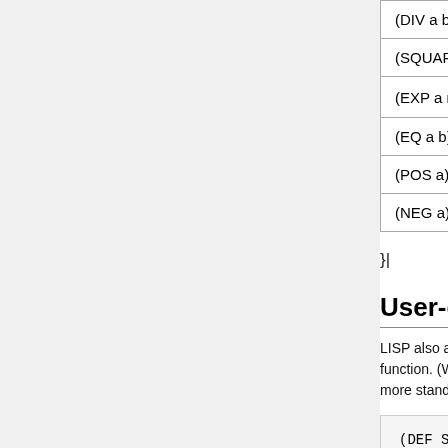| Expression | Value |
| --- | --- |
| (DIV a b) | a/b |
| (SQUARE a) | a*a |
| (EXP a n) | a^n |
| (EQ a b) | true if... |
| (POS a) | true if... |
| (NEG a) | true if... |
}|
User-defined Fu...
LISP also allows us to... function. (We will som... more standard termino...
(DEF SECOND (pa...
defines a new function... parameter named "n...